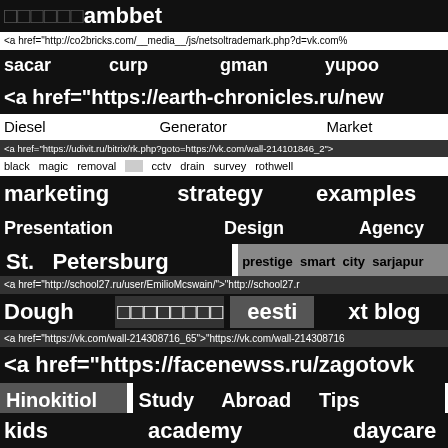□□□□□□ambbet
<a href="http://co2bricks.com/__media__/js/netsoltrademark.php?d=vk.com%
sacar   curp   gman   yupoo
<a href="https://earth-chronicles.ru/new
Diesel   Generator   Market
<a href="https://udivit.ru/bitrix/rk.php?goto=https://vk.com/wall-214101846_2">
black magic removal cctv drain survey rothwell
marketing strategy examples
Presentation Design Agency
St. Petersburg   prestige smart city sarjapur
<a href="http://school27.ru/user/EmilioMcswain/">"http://school27.r
Dough □□□□□□□□ eesti xt blog
<a href="https://vk.com/wall-214308716_65">"https://vk.com/wall-214308716
<a href="https://facenewss.ru/zagotovk
Hinokitiol Study Abroad Tips
kids academy daycare
cheap flowers delivered next day to Coms Fqn Comm Unity
realtor azusa
<a href="https://vk.com/wall679209666_632">"https://vk.com/wall679209666
http://coms.fqn.comm.unity.moe/punbb/Profile.Php?id=888964
□□□□□□□□□□□□□evo engine gutter protector